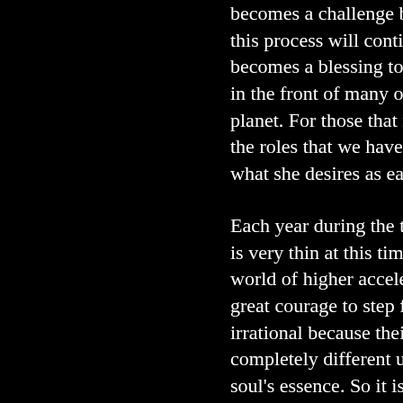becomes a challenge but a gift to this process will continue for ever becomes a blessing to walk with t in the front of many others walking planet. For those that resonate de the roles that we have decided to what she desires as each of us en
Each year during the three festiva is very thin at this time. We have world of higher acceleration and s great courage to step forward in a irrational because their conscious completely different understanding soul's essence. So it is a moment knowing of Who You Are, otherwis interpretations of how history has more.
The THREE HIGH ASCENSION F human souls to accept the truth fr make the necessary changes so t spiritual vibration.